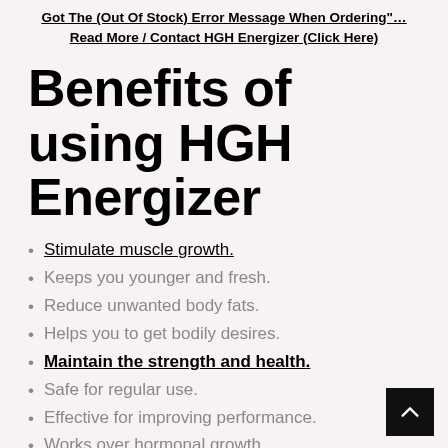Got The (Out Of Stock) Error Message When Ordering"…Read More / Contact HGH Energizer (Click Here)
Benefits of using HGH Energizer
Stimulate muscle growth.
Keeps you younger and fresh.
Reduce unwanted body fats.
Helps you to get bodily desires.
Maintain the strength and health.
Safe for regular use.
Effective for improving performance.
Works over hormonal growth.